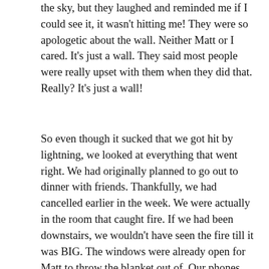the sky, but they laughed and reminded me if I could see it, it wasn't hitting me! They were so apologetic about the wall. Neither Matt or I cared. It's just a wall. They said most people were really upset with them when they did that. Really? It's just a wall!
So even though it sucked that we got hit by lightning, we looked at everything that went right. We had originally planned to go out to dinner with friends. Thankfully, we had cancelled earlier in the week. We were actually in the room that caught fire. If we had been downstairs, we wouldn't have seen the fire till it was BIG. The windows were already open for Matt to throw the blanket out of. Our phones were right there. The fire department was in the middle of a meeting and were ready to get to out house in less than 90 seconds. They were there in under 2 minutes! The dog was calm and didn't get in the way. We don't care about anything in the house, it could have all burnt to the ground, but if we had been at dinner, May...